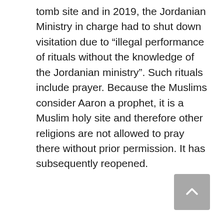tomb site and in 2019, the Jordanian Ministry in charge had to shut down visitation due to “illegal performance of rituals without the knowledge of the Jordanian ministry”. Such rituals include prayer. Because the Muslims consider Aaron a prophet, it is a Muslim holy site and therefore other religions are not allowed to pray there without prior permission. It has subsequently reopened.